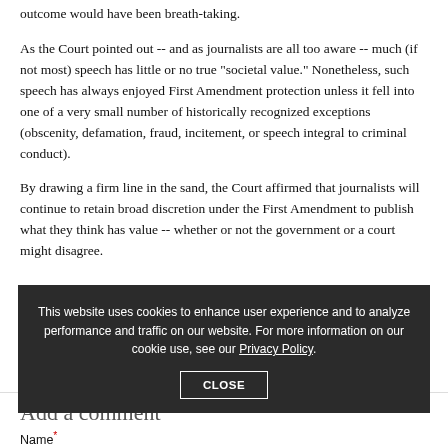outcome would have been breath-taking.
As the Court pointed out -- and as journalists are all too aware -- much (if not most) speech has little or no true "societal value." Nonetheless, such speech has always enjoyed First Amendment protection unless it fell into one of a very small number of historically recognized exceptions (obscenity, defamation, fraud, incitement, or speech integral to criminal conduct).
By drawing a firm line in the sand, the Court affirmed that journalists will continue to retain broad discretion under the First Amendment to publish what they think has value -- whether or not the government or a court might disagree.
This website uses cookies to enhance user experience and to analyze performance and traffic on our website. For more information on our cookie use, see our Privacy Policy.
CLOSE
Add a comment
Name*